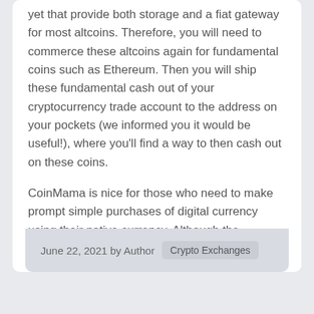yet that provide both storage and a fiat gateway for most altcoins. Therefore, you will need to commerce these altcoins again for fundamental coins such as Ethereum. Then you will ship these fundamental cash out of your cryptocurrency trade account to the address on your pockets (we informed you it would be useful!), where you'll find a way to then cash out on these coins.
CoinMama is nice for those who need to make prompt simple purchases of digital currency using their native currency. Although the CoinMama service is available worldwide, customers ought to be aware that some countries may not be able to use all of the capabilities of the positioning. CoinMama is on the market in English, German, French, Italian and Russian…. Read More
June 22, 2021 by Author   Crypto Exchanges